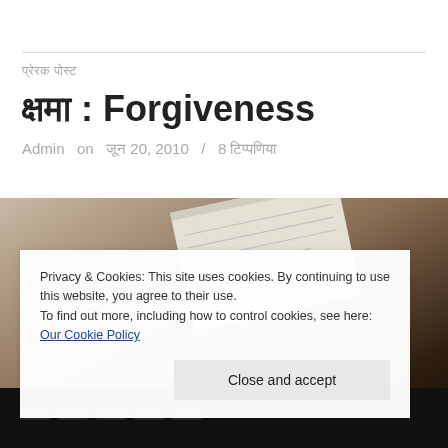प्रेरक पोस्ट
क्षमा : Forgiveness
Admin  on  जून 20, 2010  /  8 टिप्पणिया
[Figure (photo): Photo of papers/books on a dark background, partially visible]
Privacy & Cookies: This site uses cookies. By continuing to use this website, you agree to their use.
To find out more, including how to control cookies, see here: Our Cookie Policy
Close and accept